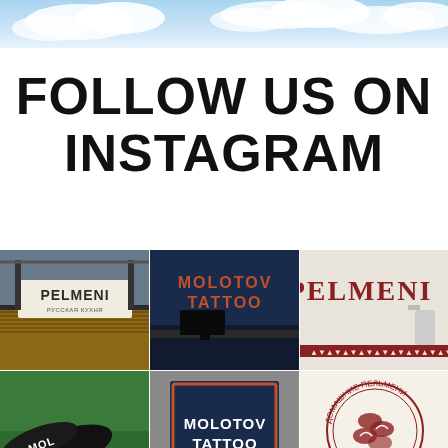[Figure (photo): Sky with clouds banner at top of page]
FOLLOW US ON INSTAGRAM
[Figure (photo): Grid of 6 Instagram photos showing Pelmeni restaurant sign, Molotov Tattoo wall sign, Pelmeni wall logo, black shoe on grass, Molotov Tattoo framed print, and circular Russian text logo]